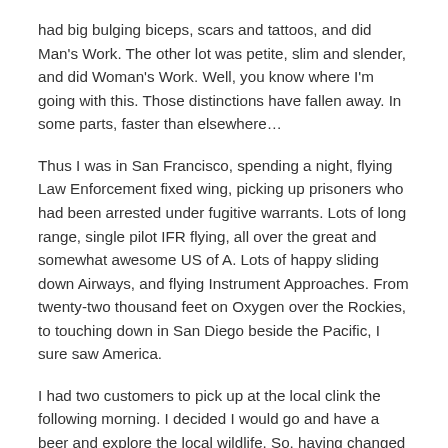had big bulging biceps, scars and tattoos, and did Man's Work. The other lot was petite, slim and slender, and did Woman's Work. Well, you know where I'm going with this. Those distinctions have fallen away. In some parts, faster than elsewhere…
Thus I was in San Francisco, spending a night, flying Law Enforcement fixed wing, picking up prisoners who had been arrested under fugitive warrants. Lots of long range, single pilot IFR flying, all over the great and somewhat awesome US of A. Lots of happy sliding down Airways, and flying Instrument Approaches. From twenty-two thousand feet on Oxygen over the Rockies, to touching down in San Diego beside the Pacific, I sure saw America.
I had two customers to pick up at the local clink the following morning. I decided I would go and have a beer and explore the local wildlife. So, having changed out of my uniform, I ambled down to the reception in Motel 6 (we flew on a tight budget) and approached the night clerk.
He was a sour faced fellow, thin and lanky, chewing tobacco, stubble on his chin, cowboy boots and a weathered face. Whatever he had been doing in prior career, it had been outside a lot in the fresh air. I asked him, in my usual polite, soft spoken voice, if he knew if there was a good bar nearby. He looked up from some intense Cowboy Novel he was reading, and studied me coldly. Chewing thoughtfully, he inspected the goods, and then gave me